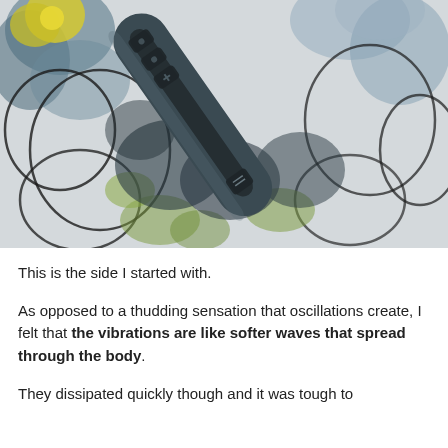[Figure (photo): A close-up photo of a dark gray elongated massage/vibration device with control buttons, lying on a floral-patterned fabric with blue, yellow, and green flowers on a white background.]
This is the side I started with.
As opposed to a thudding sensation that oscillations create, I felt that the vibrations are like softer waves that spread through the body.
They dissipated quickly though and it was tough to